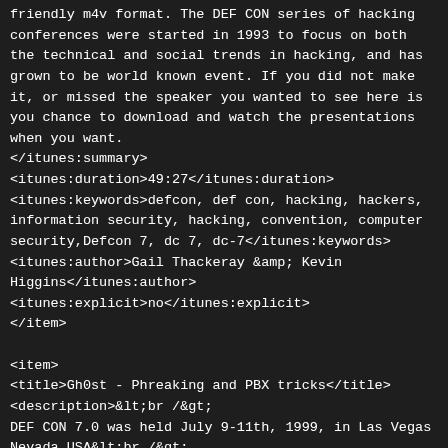friendly m4v format. The DEF CON series of hacking conferences were started in 1993 to focus on both the technical and social trends in hacking, and has grown to be world known event. If you did not make it, or missed the speaker you wanted to see here is you chance to download and watch the presentations when you want.
</itunes:summary>
<itunes:duration>49:27</itunes:duration>
<itunes:keywords>defcon, def con, hacking, hackers, information security, hacking, convention, computer security,Defcon 7, dc 7, dc-7</itunes:keywords>
<itunes:author>Gail Thackeray &amp; Kevin Higgins</itunes:author>
<itunes:explicit>no</itunes:explicit>
</item>

<item>
<title>Gh0st - Phreaking and PBX tricks</title>
<description>&lt;br /&gt;
DEF CON 7.0 was held July 9-11th, 1999, in Las Vegas Nevada USA&lt;br /&gt;
Past speeches and talks from DEF CON hacking conferences in an iTunes friendly m4v format. The DEFCON series of hacking conferences were started in 1993 to focus on both the technical and social trends in hacking, and has grown to be world known event. If you did not make it, or missed the speaker you wanted to see here is you chance to download and watch the presentations when you want.&lt;br /&gt;</description>
<link>http://defcon.org/html/links/defcon-media-archives.html#DEF%20CON%207</link>
<author>feedback@defcon.org (DEF CON Announcements)</author>
<category
domain="http://www.dmoz.com">Computers/Hacking/</category>